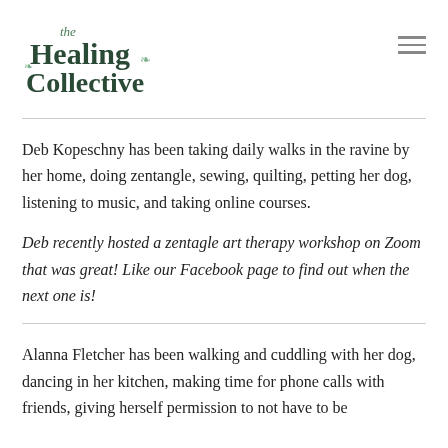The Healing Collective
Deb Kopeschny has been taking daily walks in the ravine by her home, doing zentangle, sewing, quilting, petting her dog, listening to music, and taking online courses.
Deb recently hosted a zentagle art therapy workshop on Zoom that was great! Like our Facebook page to find out when the next one is!
Alanna Fletcher has been walking and cuddling with her dog, dancing in her kitchen, making time for phone calls with friends, giving herself permission to not have to be